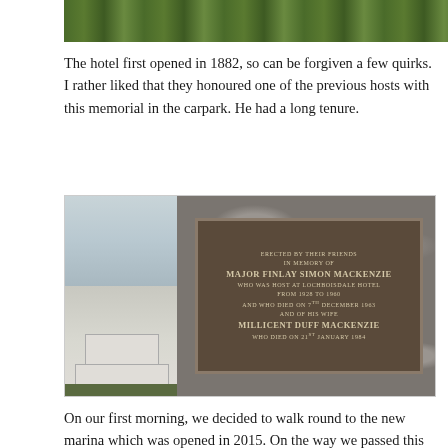[Figure (photo): Top portion of a landscape photo showing green grass/hillside]
The hotel first opened in 1882, so can be forgiven a few quirks. I rather liked that they honoured one of the previous hosts with this memorial in the carpark. He had a long tenure.
[Figure (photo): Two photos side by side: left shows a war memorial with flagpole and stone base against a cloudy sky; right shows a stone wall with a bronze memorial plaque reading: ERECTED BY THEIR FRIENDS IN MEMORY OF MAJOR FINLAY SIMON MACKENZIE WHO WAS HOST AT LOCHBOISDALE HOTEL FROM 1928 TO 1960 AND WHO DIED ON 7TH DECEMBER 1963 AND OF HIS WIFE MILLICENT DUFF MACKENZIE WHO DIED ON 21ST JANUARY 1984]
On our first morning, we decided to walk round to the new marina which was opened in 2015. On the way we passed this signpost – it was nice to know how far we were from home, and I can understand why Mallaig was there (ferries